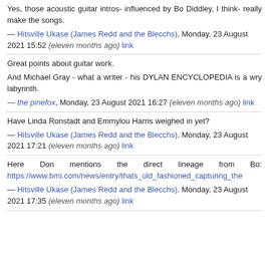Yes, those acoustic guitar intros- influenced by Bo Diddley, I think- really make the songs.
— Hitsville Ukase (James Redd and the Blecchs), Monday, 23 August 2021 15:52 (eleven months ago) link
Great points about guitar work.
And Michael Gray - what a writer - his DYLAN ENCYCLOPEDIA is a wry labyrinth.
— the pinefox, Monday, 23 August 2021 16:27 (eleven months ago) link
Have Linda Ronstadt and Emmylou Harris weighed in yet?
— Hitsville Ukase (James Redd and the Blecchs), Monday, 23 August 2021 17:21 (eleven months ago) link
Here Don mentions the direct lineage from Bo: https://www.bmi.com/news/entry/thats_old_fashioned_capturing_the
— Hitsville Ukase (James Redd and the Blecchs), Monday, 23 August 2021 17:35 (eleven months ago) link